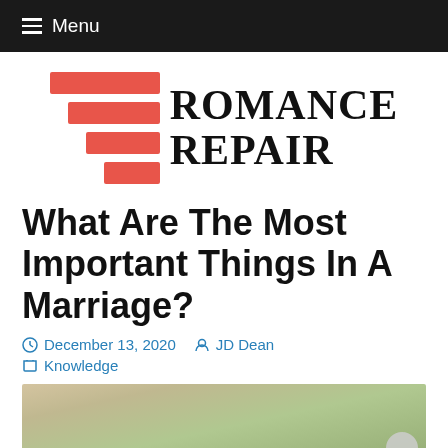≡ Menu
[Figure (logo): Romance Repair logo with red horizontal bars decreasing in width and the text ROMANCE REPAIR in serif bold font]
What Are The Most Important Things In A Marriage?
December 13, 2020   JD Dean   Knowledge
[Figure (photo): A couple or group of people outdoors with trees/greenery in background]